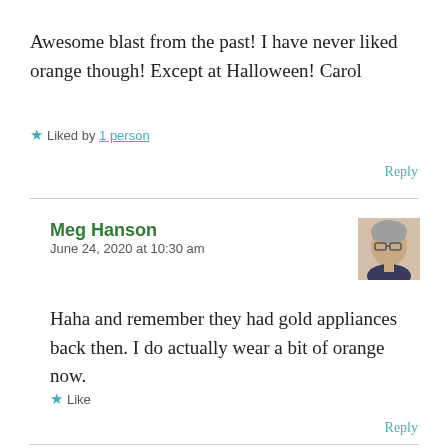Awesome blast from the past!  I have never liked orange though!  Except at Halloween! Carol
★ Liked by 1 person
Reply
Meg Hanson
June 24, 2020 at 10:30 am
[Figure (photo): Avatar photo of Meg Hanson — a woman with gray hair and glasses]
Haha and remember they had gold appliances back then. I do actually wear a bit of orange now.
★ Like
Reply